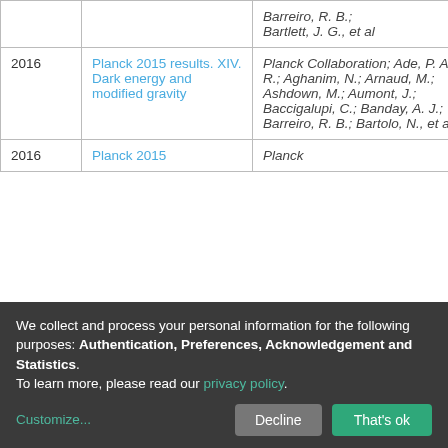| Year | Title | Authors | Access |
| --- | --- | --- | --- |
|  | Barreiro, R. B.; Bartlett, J. G., et al |  |  |
| 2016 | Planck 2015 results. XIV. Dark energy and modified gravity | Planck Collaboration; Ade, P. A. R.; Aghanim, N.; Arnaud, M.; Ashdown, M.; Aumont, J.; Baccigalupi, C.; Banday, A. J.; Barreiro, R. B.; Bartolo, N., et al | open |
| 2016 | Planck 2015 | Planck | open |
We collect and process your personal information for the following purposes: Authentication, Preferences, Acknowledgement and Statistics. To learn more, please read our privacy policy.